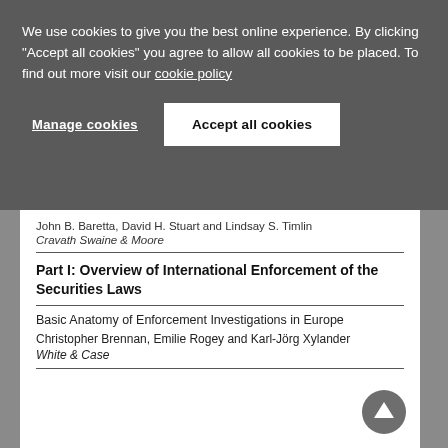We use cookies to give you the best online experience. By clicking "Accept all cookies" you agree to allow all cookies to be placed. To find out more visit our cookie policy
Manage cookies
Accept all cookies
John B. Baretta, David H. Stuart and Lindsay S. Timlin
Cravath Swaine & Moore
Part I: Overview of International Enforcement of the Securities Laws
Basic Anatomy of Enforcement Investigations in Europe
Christopher Brennan, Emilie Rogey and Karl-Jörg Xylander
White & Case